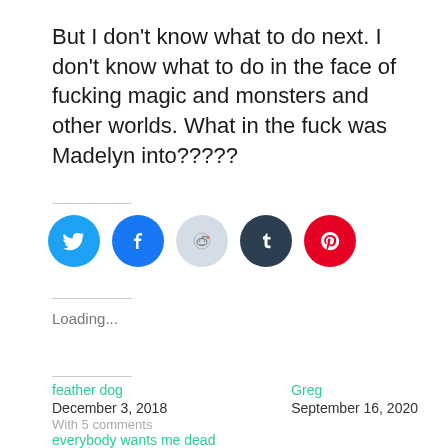But I don't know what to do next. I don't know what to do in the face of fucking magic and monsters and other worlds. What in the fuck was Madelyn into?????
[Figure (infographic): Row of five social media sharing icon buttons: Twitter (blue), Facebook (dark blue), Reddit (light blue/grey), Tumblr (dark teal), Pinterest (red)]
Loading...
feather dog
December 3, 2018
With 5 comments
Greg
September 16, 2020
everybody wants me dead